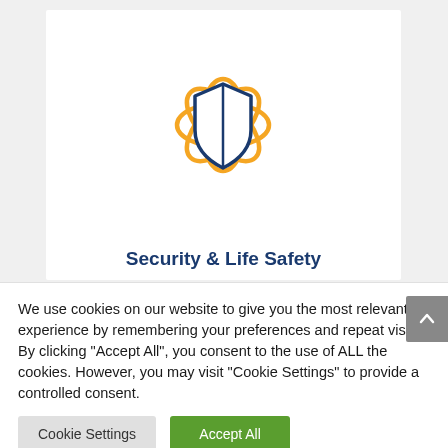[Figure (logo): Security and Life Safety logo: an orange atomic/flower ring design surrounding a dark blue shield with a vertical center line]
Security & Life Safety
We use cookies on our website to give you the most relevant experience by remembering your preferences and repeat visits. By clicking "Accept All", you consent to the use of ALL the cookies. However, you may visit "Cookie Settings" to provide a controlled consent.